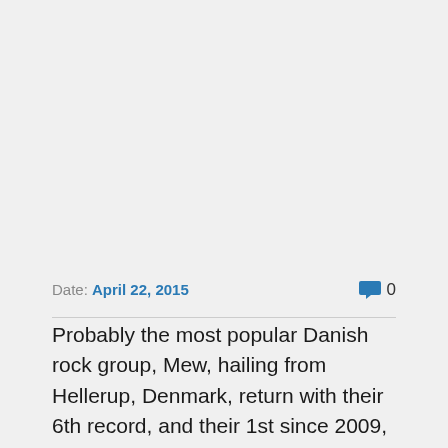Date: April 22, 2015   0
Probably the most popular Danish rock group, Mew, hailing from Hellerup, Denmark, return with their 6th record, and their 1st since 2009, entitled + –. Featuring Dn...ll Li...l. of the b...nd Bl... Bo...t...nd Ki...l...